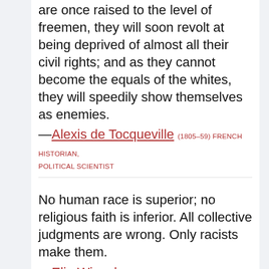are once raised to the level of freemen, they will soon revolt at being deprived of almost all their civil rights; and as they cannot become the equals of the whites, they will speedily show themselves as enemies. —Alexis de Tocqueville (1805–59) FRENCH HISTORIAN, POLITICAL SCIENTIST
No human race is superior; no religious faith is inferior. All collective judgments are wrong. Only racists make them. —Elie Wiesel (1928–2016) ROMANIAN-BORN AMERICAN WRITER, PROFESSOR, POLITICAL ACTIVIST
I am not an Athenian or a Greek, I am a citizen of the world.